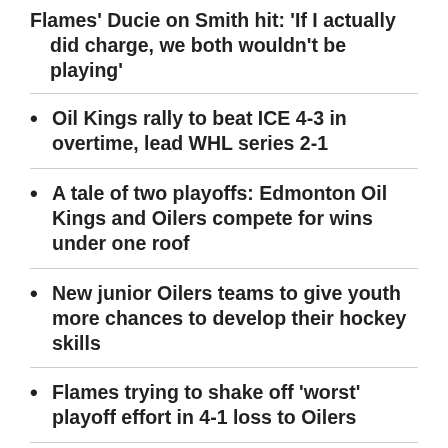Flames' Ducie on Smith hit: 'If I actually did charge, we both wouldn't be playing'
Oil Kings rally to beat ICE 4-3 in overtime, lead WHL series 2-1
A tale of two playoffs: Edmonton Oil Kings and Oilers compete for wins under one roof
New junior Oilers teams to give youth more chances to develop their hockey skills
Flames trying to shake off 'worst' playoff effort in 4-1 loss to Oilers
The Flames claimed the Pacific Division crown in the regular season by being a dominant five-on-five team, using all four lines. Against the Oilers, they have been guilty of taking far too